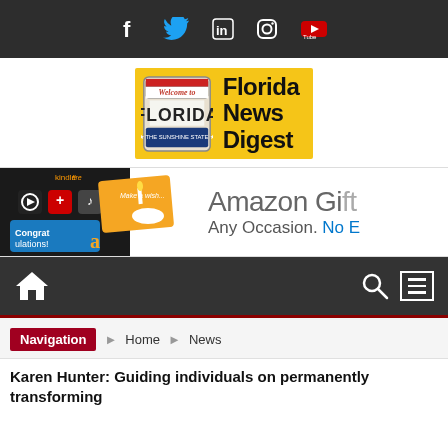Social media icons bar: Facebook, Twitter, LinkedIn, Instagram, YouTube
[Figure (logo): Florida News Digest logo: yellow background with Welcome to Florida license plate sign and bold text 'Florida News Digest']
[Figure (photo): Amazon Gift Cards advertisement banner showing Kindle Fire tablet, gift cards with 'Make a wish...' and 'Congratulations!' text, and text 'Amazon Gi[ft Cards] Any Occasion. No E[xpiry]']
Navigation bar with home icon, search icon, and menu icon
Navigation > Home > News
Karen Hunter: Guiding individuals on permanently transforming